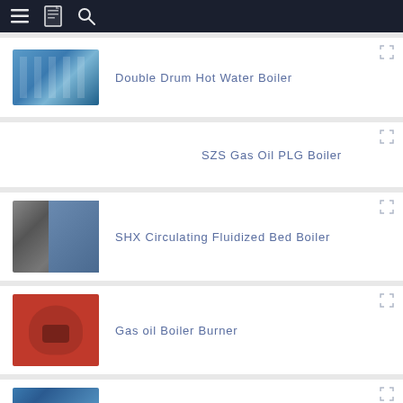Navigation bar with menu, bookmark, and search icons
[Figure (photo): Double Drum Hot Water Boiler - large blue industrial boiler unit]
Double Drum Hot Water Boiler
SZS Gas Oil PLG Boiler
[Figure (photo): SHX Circulating Fluidized Bed Boiler - tall industrial tower structure]
SHX Circulating Fluidized Bed Boiler
[Figure (photo): Gas oil Boiler Burner - red hemispherical burner component]
Gas oil Boiler Burner
[Figure (photo): Partial view of another boiler product at bottom of page]